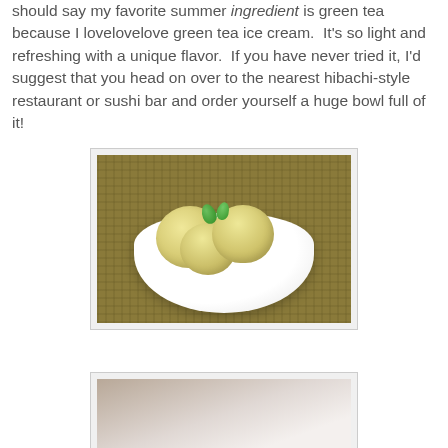should say my favorite summer ingredient is green tea because I lovelovelove green tea ice cream. It's so light and refreshing with a unique flavor. If you have never tried it, I'd suggest that you head on over to the nearest hibachi-style restaurant or sushi bar and order yourself a huge bowl full of it!
[Figure (photo): A white bowl filled with multiple scoops of pale green tea ice cream, garnished with a fresh mint leaf sprig, set on a woven mat background.]
[Figure (photo): Partial view of another image, appears to show a light-colored surface or food item, cropped at bottom of page.]